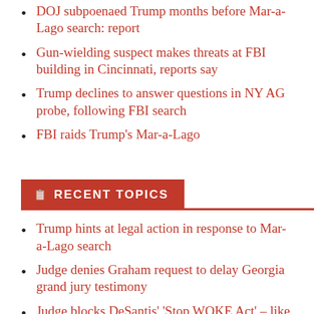DOJ subpoenaed Trump months before Mar-a-Lago search: report
Gun-wielding suspect makes threats at FBI building in Cincinnati, reports say
Trump declines to answer questions in NY AG probe, following FBI search
FBI raids Trump's Mar-a-Lago
RECENT TOPICS
Trump hints at legal action in response to Mar-a-Lago search
Judge denies Graham request to delay Georgia grand jury testimony
Judge blocks DeSantis' 'Stop WOKE Act' – like '1st Amend. upside down'
Cheney: McCarthy doesn't deserve to be Speaker